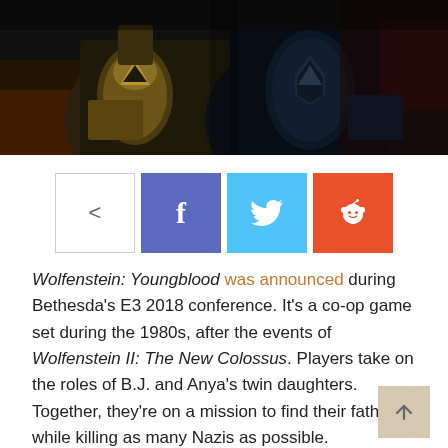[Figure (photo): Dark video game screenshot showing two armored characters side by side from Wolfenstein: Youngblood]
[Figure (infographic): Social share buttons: generic share icon (outlined), Facebook (blue-purple), Twitter (cyan), Reddit (orange)]
Wolfenstein: Youngblood was announced during Bethesda's E3 2018 conference. It's a co-op game set during the 1980s, after the events of Wolfenstein II: The New Colossus. Players take on the roles of B.J. and Anya's twin daughters. Together, they're on a mission to find their father while killing as many Nazis as possible.
Check out the Wolfenstein: Youngblood story trailer below: